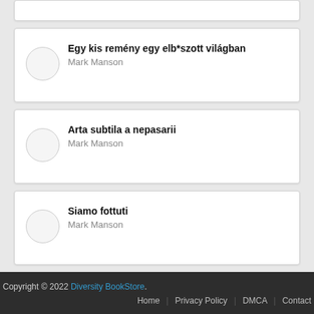Egy kis remény egy elb*szott világban — Mark Manson
Arta subtila a nepasarii — Mark Manson
Siamo fottuti — Mark Manson
Copyright © 2022 Diversity BookStore. Home | Privacy Policy | DMCA | Contact